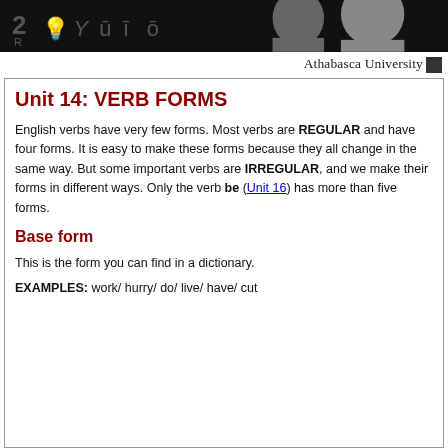[Figure (illustration): Black banner header with faint icons including keyboard/alphabet symbols and silhouettes of two human heads]
Athabasca University
Unit 14: VERB FORMS
English verbs have very few forms. Most verbs are REGULAR and have four forms. It is easy to make these forms because they all change in the same way. But some important verbs are IRREGULAR, and we make their forms in different ways. Only the verb be (Unit 16) has more than five forms.
Base form
This is the form you can find in a dictionary.
EXAMPLES: work/ hurry/ do/ live/ have/ cut